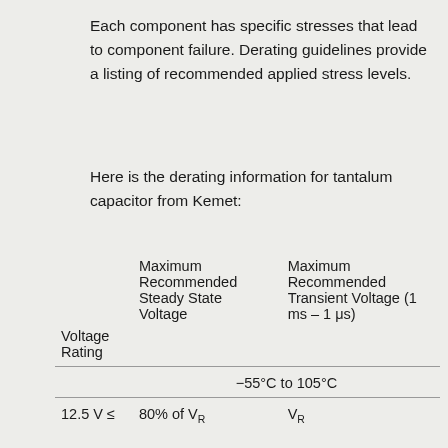Each component has specific stresses that lead to component failure. Derating guidelines provide a listing of recommended applied stress levels.
Here is the derating information for tantalum capacitor from Kemet:
| Voltage Rating | Maximum Recommended Steady State Voltage | Maximum Recommended Transient Voltage (1 ms – 1 μs) |
| --- | --- | --- |
|  | -55°C to 105°C |  |
| 12.5 V ≤ | 80% of V_R | V_R |